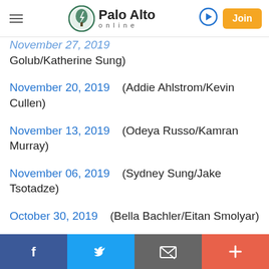Palo Alto Online
November 27, 2019 (Bryan Brady/GS Golub/Katherine Sung)
November 20, 2019 (Addie Ahlstrom/Kevin Cullen)
November 13, 2019 (Odeya Russo/Kamran Murray)
November 06, 2019 (Sydney Sung/Jake Tsotadze)
October 30, 2019 (Bella Bachler/Eitan Smolyar)
October 23, 2019 (Cooper McKenna/Phillip Doan)
Facebook | Twitter | Email | More